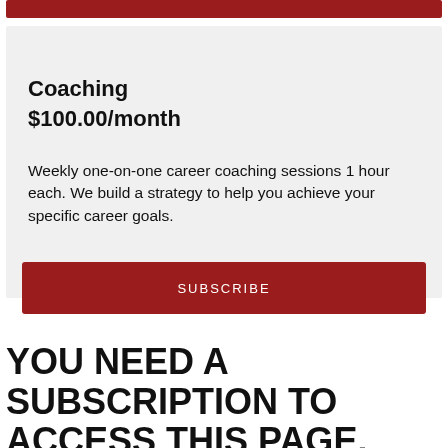[Figure (other): Red button/bar at top of page (truncated from above)]
Coaching
$100.00/month
Weekly one-on-one career coaching sessions 1 hour each. We build a strategy to help you achieve your specific career goals.
[Figure (other): SUBSCRIBE button (dark red)]
YOU NEED A SUBSCRIPTION TO ACCESS THIS PAGE.